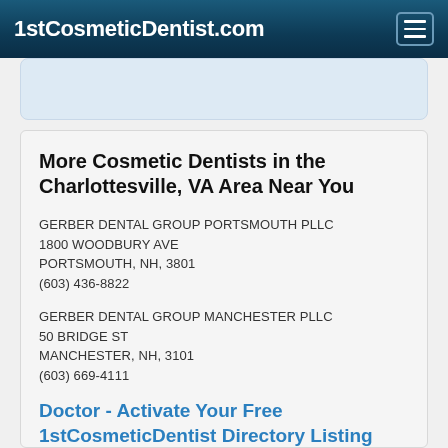1stCosmeticDentist.com
More Cosmetic Dentists in the Charlottesville, VA Area Near You
GERBER DENTAL GROUP PORTSMOUTH PLLC
1800 WOODBURY AVE
PORTSMOUTH, NH, 3801
(603) 436-8822
GERBER DENTAL GROUP MANCHESTER PLLC
50 BRIDGE ST
MANCHESTER, NH, 3101
(603) 669-4111
Doctor - Activate Your Free 1stCosmeticDentist Directory Listing
J D HOWARD DENTAL LLC